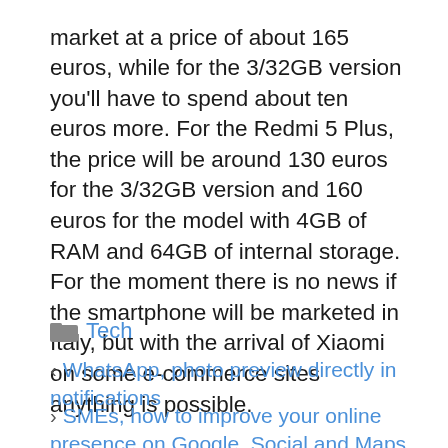market at a price of about 165 euros, while for the 3/32GB version you'll have to spend about ten euros more. For the Redmi 5 Plus, the price will be around 130 euros for the 3/32GB version and 160 euros for the model with 4GB of RAM and 64GB of internal storage. For the moment there is no news if the smartphone will be marketed in Italy, but with the arrival of Xiaomi on some e-commerce sites anything is possible.
Tech
WhatsApp, photo preview directly in notifications
SMEs, how to improve your online presence on Google, Social and Maps